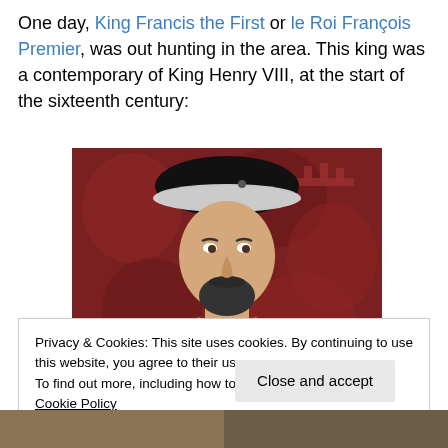One day, King Francis the First or le Roi François Premier, was out hunting in the area. This king was a contemporary of King Henry VIII, at the start of the sixteenth century:
[Figure (photo): Portrait painting of King Francis I of France, wearing a black hat with white fur trim and ornate royal clothing, against a red decorative background.]
Privacy & Cookies: This site uses cookies. By continuing to use this website, you agree to their use.
To find out more, including how to control cookies, see here: Cookie Policy
Close and accept